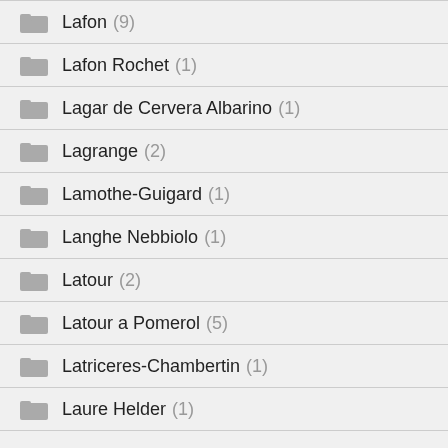Lafon (9)
Lafon Rochet (1)
Lagar de Cervera Albarino (1)
Lagrange (2)
Lamothe-Guigard (1)
Langhe Nebbiolo (1)
Latour (2)
Latour a Pomerol (5)
Latriceres-Chambertin (1)
Laure Helder (1)